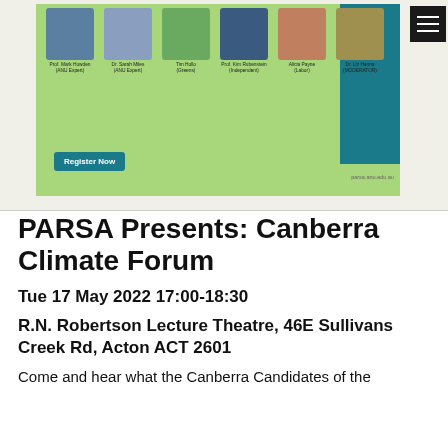[Figure (screenshot): Screenshot of PARSA Canberra Climate Forum event banner showing six panelist headshot photos (Prof. Mark Howden, Dr. Sarah Miles, Tim Hollo, Prof. Kim Rubenstein, Alicia Payne, Dr. Liz Hanna) with a green and teal background, a Register Now button, and the URL parsa.anu.edu.au]
PARSA Presents: Canberra Climate Forum
Tue 17 May 2022 17:00-18:30
R.N. Robertson Lecture Theatre, 46E Sullivans Creek Rd, Acton ACT 2601
Come and hear what the Canberra Candidates of the